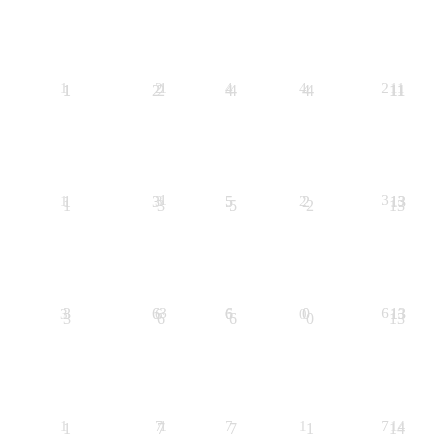| 1 | 2 | 4 | 4 | 11 |
| 1 | 3 | 5 | 2 | 13 |
| 3 | 6 | 6 | 0 | 13 |
| 1 | 7 | 7 | 1 | 14 |
| 1 | 8 | 8 | 0 | 14 |
| 0 | 8 | 9 | 0 | 14 |
| 0 | 8 | 10 | 0 | 14 |
| 1 | 9 | 11 | 2 | 16 |
| 1 | 10 | 12 | .. |  |